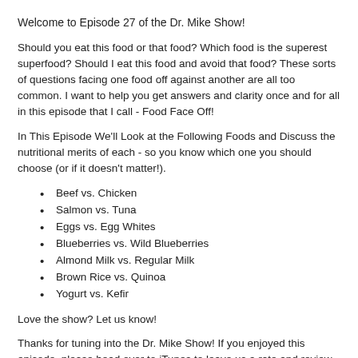Welcome to Episode 27 of the Dr. Mike Show!
Should you eat this food or that food? Which food is the superest superfood? Should I eat this food and avoid that food? These sorts of questions facing one food off against another are all too common. I want to help you get answers and clarity once and for all in this episode that I call - Food Face Off!
In This Episode We'll Look at the Following Foods and Discuss the nutritional merits of each - so you know which one you should choose (or if it doesn't matter!).
Beef vs. Chicken
Salmon vs. Tuna
Eggs vs. Egg Whites
Blueberries vs. Wild Blueberries
Almond Milk vs. Regular Milk
Brown Rice vs. Quinoa
Yogurt vs. Kefir
Love the show? Let us know!
Thanks for tuning into the Dr. Mike Show! If you enjoyed this episode, please head over to iTunes to leave us a rate and review. Subscribe to the show so you never miss an episode and don't forget to share your favorite episodes on social media.
Be sure grab your copy of Men's Health The MetaShred Diet: Your 29-Day